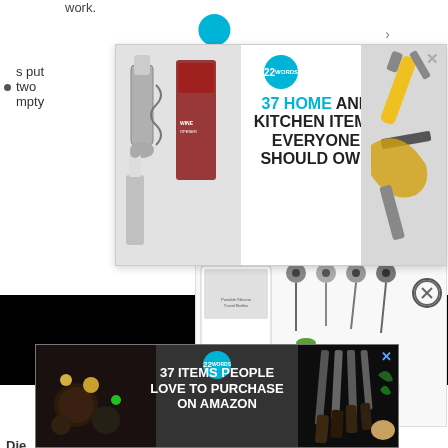work.
[Figure (screenshot): Advertisement popup overlay: '37 HOME AND KITCHEN ITEMS EVERYONE SHOULD OWN' with 22 Words logo, kitchen tools images on sides, close X button]
s put two empty
having sex.
Die
FEA
[Figure (screenshot): Black video player area with CLOSE button]
[Figure (screenshot): Bottom advertisement: '37 ITEMS PEOPLE LOVE TO PURCHASE ON AMAZON' with 22 Words logo, dark background with kitchen knives image, X close button]
[Figure (photo): Product image: retractable badge holders/ID holders in multiple colors (green, blue, white/clear) with black retractable clips]
[Figure (photo): Close X circle button overlay]